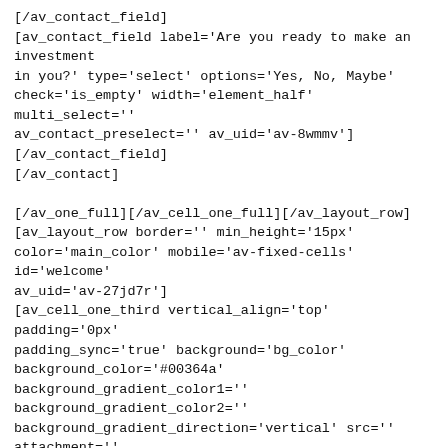[/av_contact_field]
[av_contact_field label='Are you ready to make an investment in you?' type='select' options='Yes, No, Maybe' check='is_empty' width='element_half' multi_select='' av_contact_preselect='' av_uid='av-8wmmv']
[/av_contact_field]
[/av_contact]

[/av_one_full][/av_cell_one_full][/av_layout_row]
[av_layout_row border='' min_height='15px' color='main_color' mobile='av-fixed-cells' id='welcome' av_uid='av-27jd7r']
[av_cell_one_third vertical_align='top' padding='0px' padding_sync='true' background='bg_color' background_color='#00364a' background_gradient_color1='' background_gradient_color2='' background_gradient_direction='vertical' src='' attachment='' attachment_size='' background_attachment='scroll' background_position='top left' background_repeat='no-repeat' link='' linktarget='' link_hover='' mobile_display=''